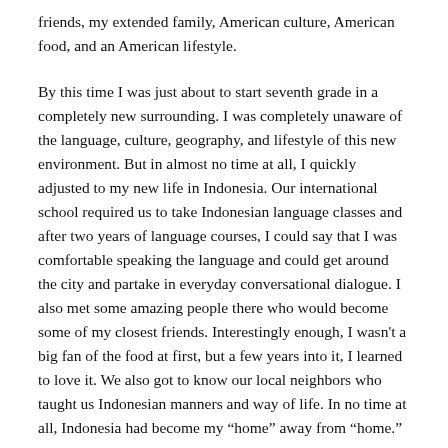friends, my extended family, American culture, American food, and an American lifestyle.
By this time I was just about to start seventh grade in a completely new surrounding. I was completely unaware of the language, culture, geography, and lifestyle of this new environment. But in almost no time at all, I quickly adjusted to my new life in Indonesia. Our international school required us to take Indonesian language classes and after two years of language courses, I could say that I was comfortable speaking the language and could get around the city and partake in everyday conversational dialogue. I also met some amazing people there who would become some of my closest friends. Interestingly enough, I wasn’t a big fan of the food at first, but a few years into it, I learned to love it. We also got to know our local neighbors who taught us Indonesian manners and way of life. In no time at all, Indonesia had become my “home” away from “home.”
In 2012, I graduated from my international school and came back to the States for college. After finally feeling like Indonesia had become my home, I had to leave. I had to